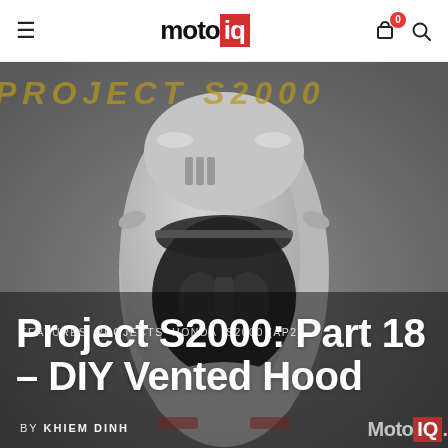motoiq — navigation bar with hamburger menu, logo, cart (0), search
[Figure (photo): Aerial top-down view of a silver Honda S2000 (AP2) sports car on a light grey surface, with dark interior visible and the soft top retracted. Overlaid text reads PROJECT S2000 in gold italic font at top.]
FEATURES  PROJECTS  HONDA  S2000 (AP2)
Project S2000: Part 18 – DIY Vented Hood
BY  KHIEM DINH